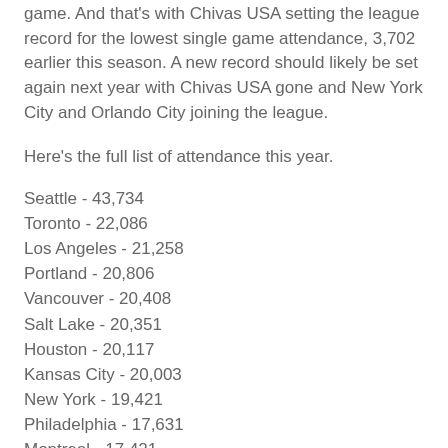game. And that's with Chivas USA setting the league record for the lowest single game attendance, 3,702 earlier this season. A new record should likely be set again next year with Chivas USA gone and New York City and Orlando City joining the league.
Here's the full list of attendance this year.
Seattle - 43,734
Toronto - 22,086
Los Angeles - 21,258
Portland - 20,806
Vancouver - 20,408
Salt Lake - 20,351
Houston - 20,117
Kansas City - 20,003
New York - 19,421
Philadelphia - 17,631
Montreal - 17,421
DC - 17,030
Columbus - 16,881
Dallas - 16,817